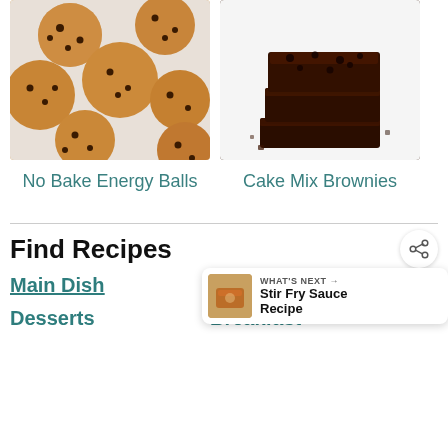[Figure (photo): Overhead photo of golden chocolate chip cookie dough balls/no bake energy balls on a light surface]
[Figure (photo): Stack of fudgy dark chocolate brownies made from cake mix, on a white surface]
No Bake Energy Balls
Cake Mix Brownies
Find Recipes
Main Dish
Side Dish
Desserts
Breakfast
WHAT'S NEXT → Stir Fry Sauce Recipe